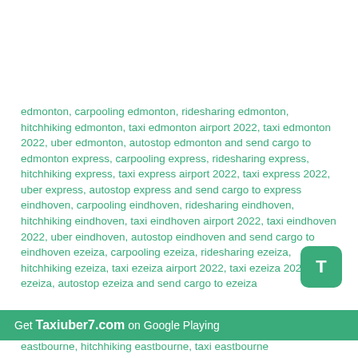edmonton, carpooling edmonton, ridesharing edmonton, hitchhiking edmonton, taxi edmonton airport 2022, taxi edmonton 2022, uber edmonton, autostop edmonton and send cargo to edmonton express, carpooling express, ridesharing express, hitchhiking express, taxi express airport 2022, taxi express 2022, uber express, autostop express and send cargo to express eindhoven, carpooling eindhoven, ridesharing eindhoven, hitchhiking eindhoven, taxi eindhoven airport 2022, taxi eindhoven 2022, uber eindhoven, autostop eindhoven and send cargo to eindhoven ezeiza, carpooling ezeiza, ridesharing ezeiza, hitchhiking ezeiza, taxi ezeiza airport 2022, taxi ezeiza 2022, uber ezeiza, autostop ezeiza and send cargo to ezeiza
Get Taxiuber7.com on Google Playing
eastbourne, hitchhiking eastbourne, taxi eastbourne